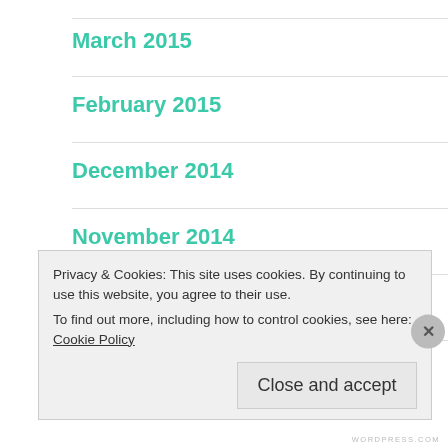March 2015
February 2015
December 2014
November 2014
October 2014
July 2014
Privacy & Cookies: This site uses cookies. By continuing to use this website, you agree to their use. To find out more, including how to control cookies, see here: Cookie Policy
Close and accept
WORDPRESS.COM